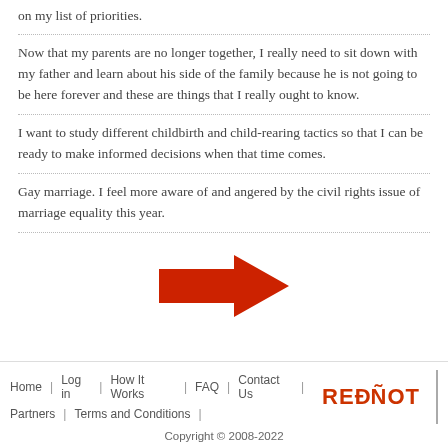on my list of priorities.
Now that my parents are no longer together, I really need to sit down with my father and learn about his side of the family because he is not going to be here forever and these are things that I really ought to know.
I want to study different childbirth and child-rearing tactics so that I can be ready to make informed decisions when that time comes.
Gay marriage. I feel more aware of and angered by the civil rights issue of marriage equality this year.
[Figure (illustration): A large red right-pointing arrow in the center of the page]
Home | Log in | How It Works | FAQ | Contact Us | Partners | Terms and Conditions | REDHOT logo | Copyright © 2008-2022